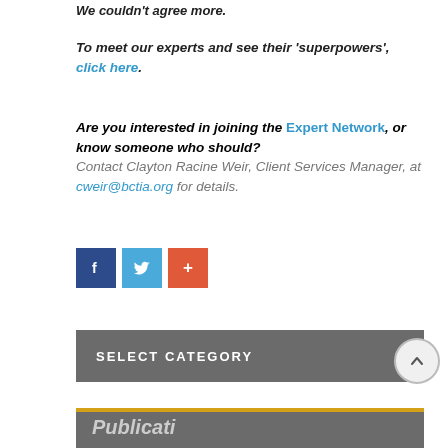To meet our experts and see their 'superpowers', click here.
Are you interested in joining the Expert Network, or know someone who should? Contact Clayton Racine Weir, Client Services Manager, at cweir@bctia.org for details.
[Figure (other): Social sharing buttons: Facebook (blue), Twitter (light blue), and a red plus/share button]
[Figure (other): SELECT CATEGORY dropdown bar with dark grey background and white text]
[Figure (other): Scroll-to-top circular button with upward arrow]
[Figure (other): Partially visible dark grey section header bar with gold/yellow top border, showing beginning of word 'Publications']